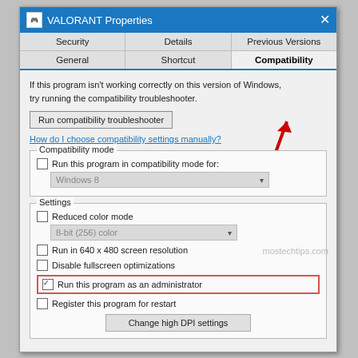VALORANT Properties
Security   Details   Previous Versions
General   Shortcut   Compatibility
If this program isn't working correctly on this version of Windows, try running the compatibility troubleshooter.
Run compatibility troubleshooter
How do I choose compatibility settings manually?
Compatibility mode
Run this program in compatibility mode for:
Windows 8
Settings
Reduced color mode
8-bit (256) color
Run in 640 x 480 screen resolution
Disable fullscreen optimizations
Run this program as an administrator
Register this program for restart
Change high DPI settings